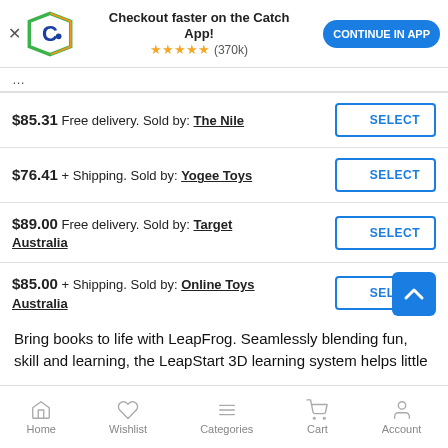[Figure (screenshot): Catch app promotional banner with logo, rating stars (370k reviews), and 'CONTINUE IN APP' button]
| Price & Seller | Action |
| --- | --- |
| $85.31 Free delivery. Sold by: The Nile | SELECT |
| $76.41 + Shipping. Sold by: Yogee Toys | SELECT |
| $89.00 Free delivery. Sold by: Target Australia | SELECT |
| $85.00 + Shipping. Sold by: Online Toys Australia | SELECT |
| $99.99 + Shipping. Sold by: Toy Universe | SELECT |
Bring books to life with LeapFrog. Seamlessly blending fun, skill and learning, the LeapStart 3D learning system helps little
Home   Wishlist   Categories   Cart   Account